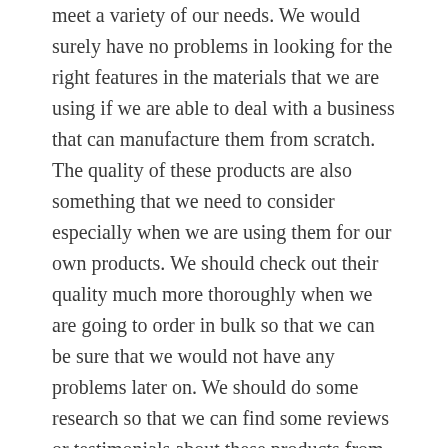meet a variety of our needs. We would surely have no problems in looking for the right features in the materials that we are using if we are able to deal with a business that can manufacture them from scratch. The quality of these products are also something that we need to consider especially when we are using them for our own products. We should check out their quality much more thoroughly when we are going to order in bulk so that we can be sure that we would not have any problems later on. We should do some research so that we can find some reviews or testimonials about these products from their past clients and it can help us to properly determine their quality. Their costs are also something that we need to consider as well as the efficiency that they have in delivering the products that we need. There are websites that we can go to of these businesses where we can check out what they have to offer and where we can get to know more about them.